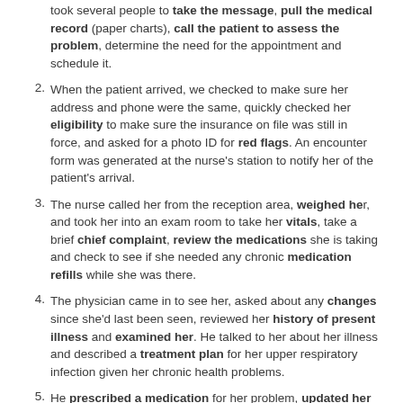took several people to take the message, pull the medical record (paper charts), call the patient to assess the problem, determine the need for the appointment and schedule it.
When the patient arrived, we checked to make sure her address and phone were the same, quickly checked her eligibility to make sure the insurance on file was still in force, and asked for a photo ID for red flags. An encounter form was generated at the nurse's station to notify her of the patient's arrival.
The nurse called her from the reception area, weighed her, and took her into an exam room to take her vitals, take a brief chief complaint, review the medications she is taking and check to see if she needed any chronic medication refills while she was there.
The physician came in to see her, asked about any changes since she'd last been seen, reviewed her history of present illness and examined her. He talked to her about her illness and described a treatment plan for her upper respiratory infection given her chronic health problems.
He prescribed a medication for her problem, updated her medication list and made a copy for her to take with her.